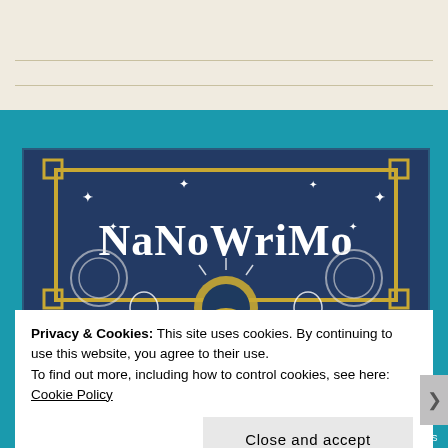[Figure (illustration): NaNoWriMo 2019 promotional illustration on a dark navy blue background with steampunk elements: gears, lightbulbs, clocks, and sparkle stars. Gold art-deco border frame surrounds the text 'NaNoWriMo' in large white serif font, with '2019' displayed in a circular badge below.]
Privacy & Cookies: This site uses cookies. By continuing to use this website, you agree to their use.
To find out more, including how to control cookies, see here: Cookie Policy
Close and accept